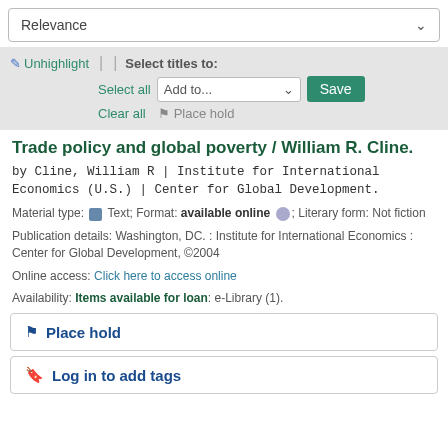[Figure (screenshot): Relevance dropdown selector with chevron]
[Figure (screenshot): Toolbar with Unhighlight button, Select all, Clear all, Add to dropdown, Save button, Select titles to label, and Place hold link]
Trade policy and global poverty / William R. Cline.
by Cline, William R | Institute for International Economics (U.S.) | Center for Global Development.
Material type: Text; Format: available online; Literary form: Not fiction
Publication details: Washington, DC. : Institute for International Economics : Center for Global Development, ©2004
Online access: Click here to access online
Availability: Items available for loan: e-Library (1).
Place hold
Log in to add tags